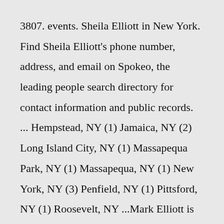3807. events. Sheila Elliott in New York. Find Sheila Elliott's phone number, address, and email on Spokeo, the leading people search directory for contact information and public records. ... Hempstead, NY (1) Jamaica, NY (2) Long Island City, NY (1) Massapequa Park, NY (1) Massapequa, NY (1) New York, NY (3) Penfield, NY (1) Pittsford, NY (1) Roosevelt, NY ...Mark Elliott is 61 years old and was born on